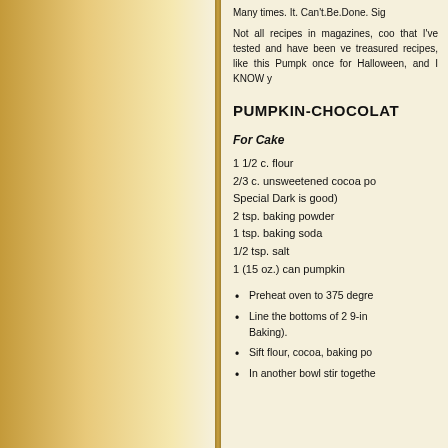Many times. It. Can't.Be.Done. Sig...
Not all recipes in magazines, coo... that I've tested and have been ve... treasured recipes, like this Pumpk... once for Halloween, and I KNOW y...
PUMPKIN-CHOCOLAT...
For Cake
1 1/2 c. flour
2/3 c. unsweetened cocoa po... Special Dark is good)
2 tsp. baking powder
1 tsp. baking soda
1/2 tsp. salt
1 (15 oz.) can pumpkin
Preheat oven to 375 degre...
Line the bottoms of 2 9-ir... Baking).
Sift flour, cocoa, baking po...
In another bowl stir togethe...